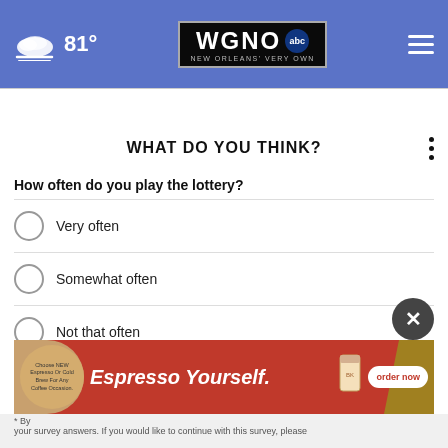WGNO ABC NEW ORLEANS' VERY OWN | 81°
WHAT DO YOU THINK?
How often do you play the lottery?
Very often
Somewhat often
Not that often
Not often at all
Other / Does not apply
[Figure (screenshot): Espresso Yourself advertisement banner for a coffee chain with order now button]
* By your survey answers. If you would like to continue with this survey, please